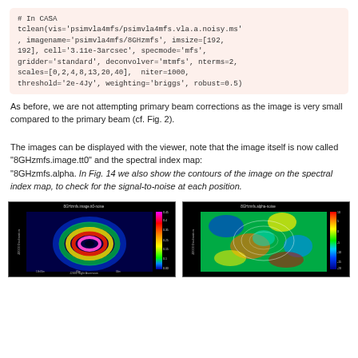# In CASA
tclean(vis='psimvla4mfs/psimvla4mfs.vla.a.noisy.ms', imagename='psimvla4mfs/8GHzmfs', imsize=[192, 192], cell='3.11e-3arcsec', specmode='mfs', gridder='standard', deconvolver='mtmfs', nterms=2, scales=[0,2,4,8,13,20,40], niter=1000, threshold='2e-4Jy', weighting='briggs', robust=0.5)
As before, we are not attempting primary beam corrections as the image is very small compared to the primary beam (cf. Fig. 2).
The images can be displayed with the viewer, note that the image itself is now called "8GHzmfs.image.tt0" and the spectral index map: "8GHzmfs.alpha. In Fig. 14 we also show the contours of the image on the spectral index map, to check for the signal-to-noise at each position.
[Figure (photo): Left panel: Radio image of a ring/donut-shaped source displayed in false color (blue-green-yellow-red-pink) on a black background with a pink/magenta colorbar on the right side. Title reads '8GHzmfs.image.tt0-noise'. Axes show J2000 coordinates.]
[Figure (photo): Right panel: Spectral index map '8GHzmfs.alpha-noise' shown in false color (blue-cyan-green-yellow-red) on a black background with a colorbar on the right. Contours of the radio image are overlaid.]